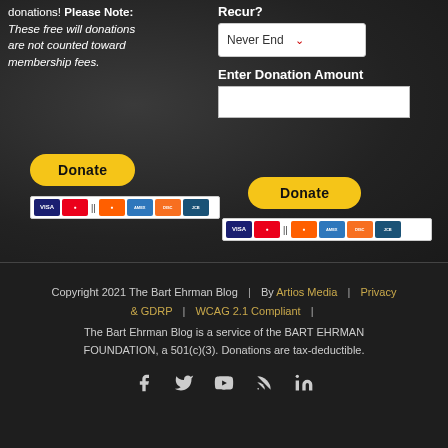donations! Please Note: These free will donations are not counted toward membership fees.
[Figure (screenshot): Donate button (yellow/gold rounded button) with PayPal payment method icons (VISA, Mastercard, American Express, Discover, etc.) below it - left column]
Recur?
[Figure (screenshot): Dropdown selector showing 'Never End' with red arrow]
Enter Donation Amount
[Figure (screenshot): Text input field for donation amount]
[Figure (screenshot): Donate button (yellow/gold rounded button) with PayPal payment method icons - right column]
Copyright 2021 The Bart Ehrman Blog | By Artios Media | Privacy & GDRP | WCAG 2.1 Compliant | The Bart Ehrman Blog is a service of the BART EHRMAN FOUNDATION, a 501(c)(3). Donations are tax-deductible.